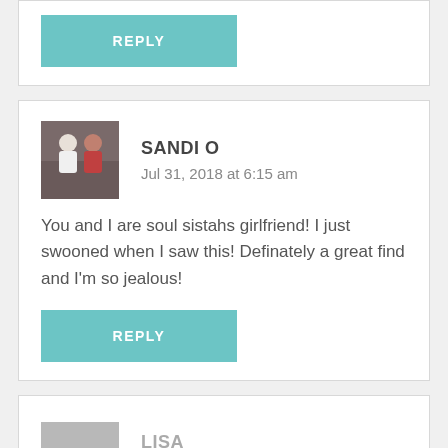[Figure (other): Reply button (teal/light blue) at top of page]
SANDI O
Jul 31, 2018 at 6:15 am
You and I are soul sistahs girlfriend! I just swooned when I saw this! Definately a great find and I'm so jealous!
[Figure (other): Reply button (teal/light blue) below comment]
LISA